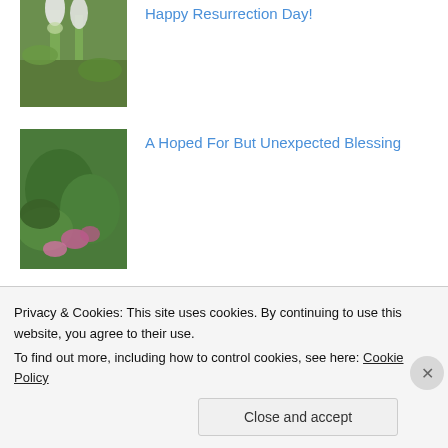[Figure (photo): Snowdrop flowers, white drooping blossoms with green leaves]
Happy Resurrection Day!
[Figure (photo): Pink and green leafy plants, garden flowers]
A Hoped For But Unexpected Blessing
[Figure (photo): A bird or insect on sandy/rocky ground]
Love Lifted Me
[Figure (photo): Partial view of a garden or nature scene]
Privacy & Cookies: This site uses cookies. By continuing to use this website, you agree to their use.
To find out more, including how to control cookies, see here: Cookie Policy
Close and accept